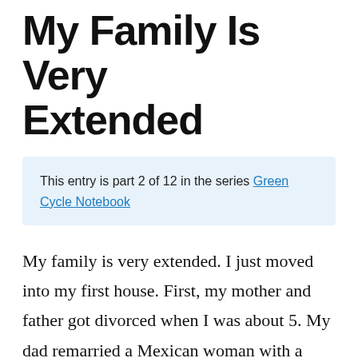My Family Is Very Extended
This entry is part 2 of 12 in the series Green Cycle Notebook
My family is very extended. I just moved into my first house. First, my mother and father got divorced when I was about 5. My dad remarried a Mexican woman with a daughter from her previous marriage. I stayed in Oak